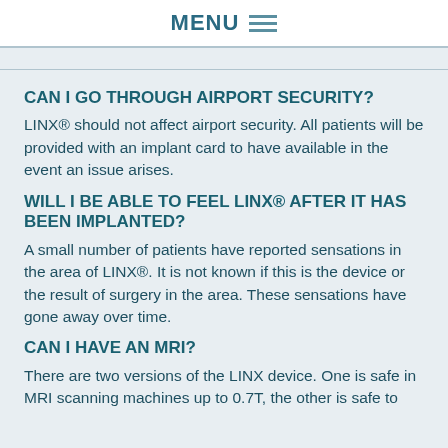MENU
partial navigation text
CAN I GO THROUGH AIRPORT SECURITY?
LINX® should not affect airport security. All patients will be provided with an implant card to have available in the event an issue arises.
WILL I BE ABLE TO FEEL LINX® AFTER IT HAS BEEN IMPLANTED?
A small number of patients have reported sensations in the area of LINX®. It is not known if this is the device or the result of surgery in the area. These sensations have gone away over time.
CAN I HAVE AN MRI?
There are two versions of the LINX device. One is safe in MRI scanning machines up to 0.7T, the other is safe to